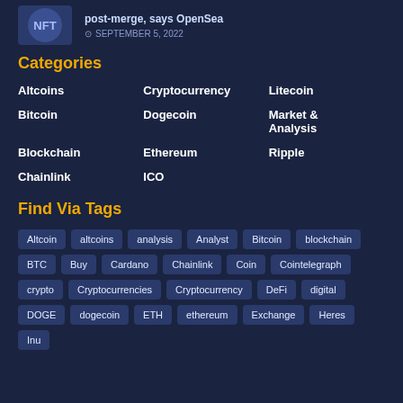[Figure (photo): Small thumbnail image with NFT/crypto graphic]
post-merge, says OpenSea
SEPTEMBER 5, 2022
Categories
Altcoins
Bitcoin
Blockchain
Chainlink
Cryptocurrency
Dogecoin
Ethereum
ICO
Litecoin
Market & Analysis
Ripple
Find Via Tags
Altcoin
altcoins
analysis
Analyst
Bitcoin
blockchain
BTC
Buy
Cardano
Chainlink
Coin
Cointelegraph
crypto
Cryptocurrencies
Cryptocurrency
DeFi
digital
DOGE
dogecoin
ETH
ethereum
Exchange
Heres
Inu